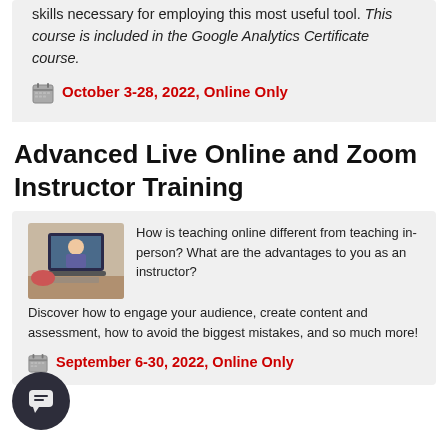skills necessary for employing this most useful tool. This course is included in the Google Analytics Certificate course.
October 3-28, 2022, Online Only
Advanced Live Online and Zoom Instructor Training
[Figure (photo): Person pointing at a laptop screen during an online class session]
How is teaching online different from teaching in-person? What are the advantages to you as an instructor? Discover how to engage your audience, create content and assessment, how to avoid the biggest mistakes, and so much more!
September 6-30, 2022, Online Only